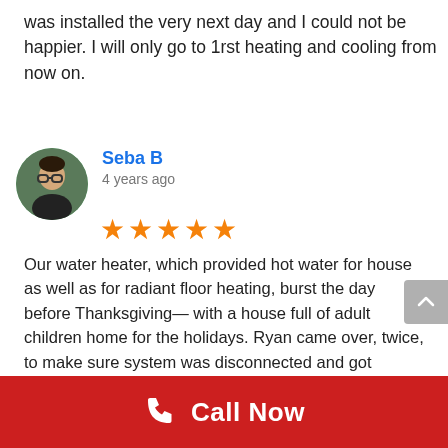was installed the very next day and I could not be happier. I will only go to 1rst heating and cooling from now on.
Seba B
4 years ago
Our water heater, which provided hot water for house as well as for radiant floor heating, burst the day before Thanksgiving— with a house full of adult children home for the holidays. Ryan came over, twice, to make sure system was disconnected and got supplier (which was closed) to open up to pick up a new unit which they installed Friday after Thanksgiving. The whole situation, especially timing, couldn't have been much worse, but they really impressed us with their concern for our emergency and the professionalism of their work. We highly recommend them!
Call Now